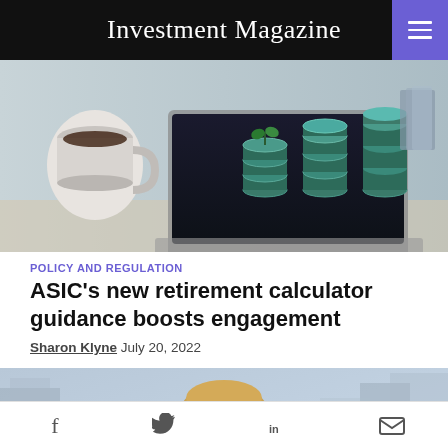Investment Magazine
[Figure (photo): Laptop showing graphic of stacked coins/money growing, with a coffee mug in the foreground on a desk]
POLICY AND REGULATION
ASIC's new retirement calculator guidance boosts engagement
Sharon Klyne July 20, 2022
[Figure (photo): Smiling middle-aged woman with short blonde hair in a light teal top, standing in front of a blurred city building background]
Social share icons: Facebook, Twitter, LinkedIn, Email